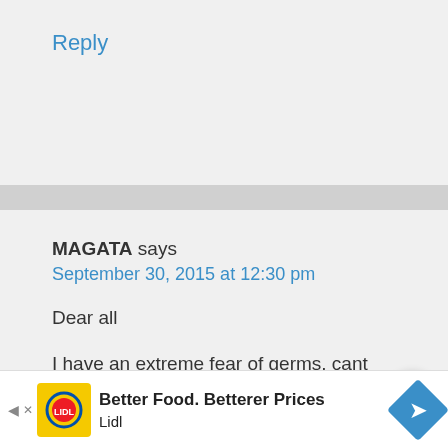Reply
MAGATA says
September 30, 2015 at 12:30 pm
Dear all
I have an extreme fear of germs, cant touch door handles, I do not eat anything that is prepared by someone else. I only eat that I cooked for myself. After using a toilet
[Figure (screenshot): Share button (circular white button with share icon) and 'What's Next' overlay showing a cockroach image with text 'Fear of Cockroaches...']
[Figure (screenshot): Advertisement bar at bottom: Lidl ad - 'Better Food. Betterer Prices / Lidl' with yellow icon and blue diamond logo]